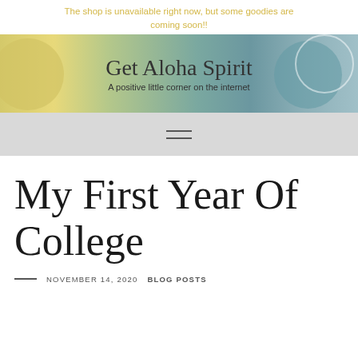The shop is unavailable right now, but some goodies are coming soon!!
[Figure (logo): Get Aloha Spirit blog banner with colorful circle paint swatch background. Text reads 'Get Aloha Spirit' and subtitle 'A positive little corner on the internet']
Navigation hamburger menu icon
My First Year Of College
NOVEMBER 14, 2020  BLOG POSTS